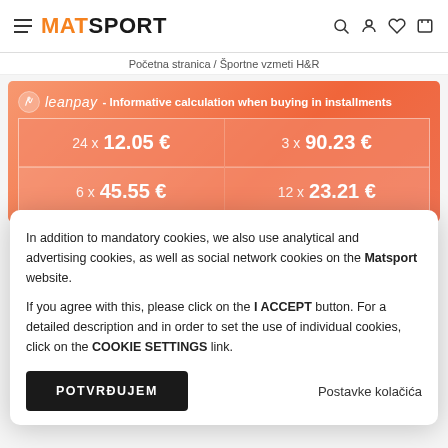MATSPORT
Početna stranica / Športne vzmeti H&R
[Figure (infographic): Leanpay installment calculator banner with orange gradient background. Shows: 24x 12.05€, 3x 90.23€, 6x 45.55€, 12x 23.21€]
In addition to mandatory cookies, we also use analytical and advertising cookies, as well as social network cookies on the Matsport website.

If you agree with this, please click on the I ACCEPT button. For a detailed description and in order to set the use of individual cookies, click on the COOKIE SETTINGS link.
POTVRĐUJEM
Postavke kolačića